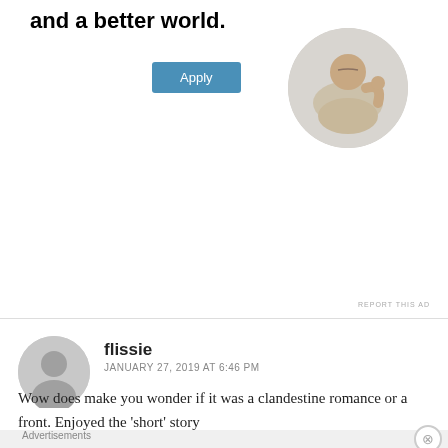and a better world.
[Figure (photo): Circular profile photo of a man thinking, seated at a desk]
REPORT THIS AD
flissie
JANUARY 27, 2019 AT 6:46 PM
Wow does make you wonder if it was a clandestine romance or a front. Enjoyed the 'short' story
Advertisements
Build a writing habit. Post on the go.
GET THE APP
REPORT THIS AD